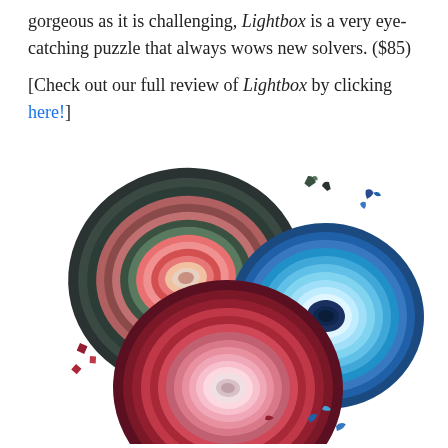gorgeous as it is challenging, Lightbox is a very eye-catching puzzle that always wows new solvers. ($85)

[Check out our full review of Lightbox by clicking here!]
[Figure (photo): Three geode-shaped jigsaw puzzles arranged overlapping: top-left is dark green/pink/coral concentric rings, top-right is blue/cyan concentric rings, bottom-center is red/pink/maroon concentric rings. Several loose puzzle pieces are scattered around the puzzles.]